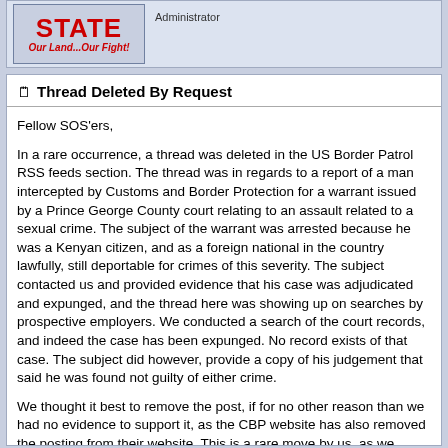[Figure (logo): SOS STATE 'Our Land...Our Fight!' logo in red with Administrator label]
Thread Deleted By Request
Fellow SOS'ers,
In a rare occurrence, a thread was deleted in the US Border Patrol RSS feeds section. The thread was in regards to a report of a man intercepted by Customs and Border Protection for a warrant issued by a Prince George County court relating to an assault related to a sexual crime. The subject of the warrant was arrested because he was a Kenyan citizen, and as a foreign national in the country lawfully, still deportable for crimes of this severity. The subject contacted us and provided evidence that his case was adjudicated and expunged, and the thread here was showing up on searches by prospective employers. We conducted a search of the court records, and indeed the case has been expunged. No record exists of that case. The subject did however, provide a copy of his judgement that said he was found not guilty of either crime.
We thought it best to remove the post, if for no other reason than we had no evidence to support it, as the CBP website has also removed the posting from their website. This is a rare move by us, as we strongly support the 1st amendment, and the post was placed there under that concept. But having reviewed everything, the value of keeping the post up was outweighed by that favoring removal. In addition, this